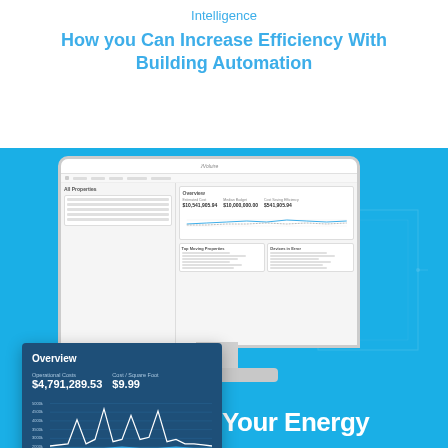Intelligence
How you Can Increase Efficiency With Building Automation
[Figure (screenshot): Computer monitor displaying a building automation dashboard software interface with an 'Overview' panel showing Operational Costs $4,791,289.53 and Cost / Square Foot $9.99, along with a line chart showing 2021 YTD vs 2019 YTD data, and various dashboard cards for Top Moving Properties, Devices in Error, etc. A dark blue floating panel overlays the monitor screenshot.]
Benchmark Your Energy